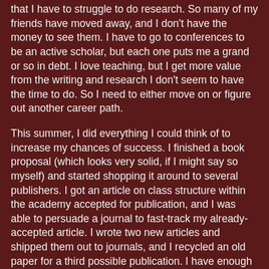that I have to struggle to do research. So many of my friends have moved away, and I don't have the money to see them. I have to go to conferences to be an active scholar, but each one puts me a grand or so in debt. I love teaching, but I get more value from the writing and research I don't seem to have the time to do. So I need to either move on or figure out another career path.
This summer, I did everything I could think of to increase my chances of success. I finished a book proposal (which looks very solid, if I might say so myself) and started shopping it around to several publishers. I got an article on class structure within the academy accepted for publication, and I was able to persuade a journal to fast-track my already-accepted article. I wrote two new articles and shipped them out to journals, and I recycled an old paper for a third possible publication. I have enough stuff on the go to make me look like a serious scholar as well...and if this doesn't help, I might have to scream or listen to Motorhead.
I've also undertaken a vast revision of all my job material, and my cv now looks fun and shiny. I'm currently debating...